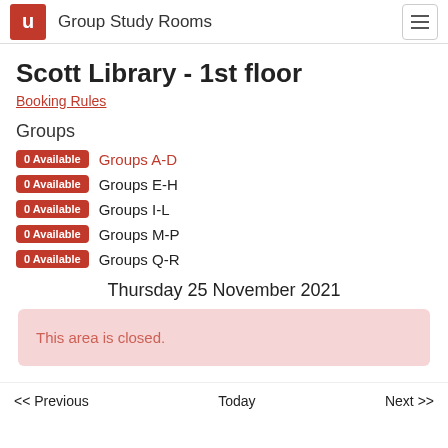Group Study Rooms
Scott Library - 1st floor
Booking Rules
Groups
0 Available  Groups A-D
0 Available  Groups E-H
0 Available  Groups I-L
0 Available  Groups M-P
0 Available  Groups Q-R
Thursday 25 November 2021
This area is closed.
<< Previous   Today   Next >>